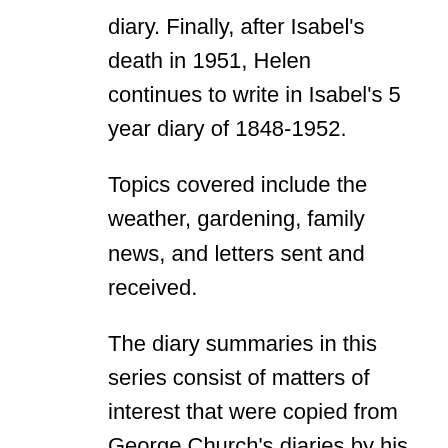diary. Finally, after Isabel's death in 1951, Helen continues to write in Isabel's 5 year diary of 1848-1952.
Topics covered include the weather, gardening, family news, and letters sent and received.
The diary summaries in this series consist of matters of interest that were copied from George Church's diaries by his daughter Isabel.
This series also contains several diaries of William Luther Bates who was a motorman for the Amherst and Springfield Railway and later